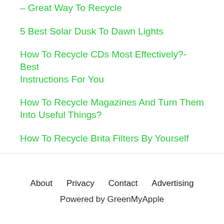How To Make A Ukulele From A Plastic Bottle – Great Way To Recycle
5 Best Solar Dusk To Dawn Lights
How To Recycle CDs Most Effectively?- Best Instructions For You
How To Recycle Magazines And Turn Them Into Useful Things?
How To Recycle Brita Filters By Yourself
About   Privacy   Contact   Advertising
Powered by GreenMyApple